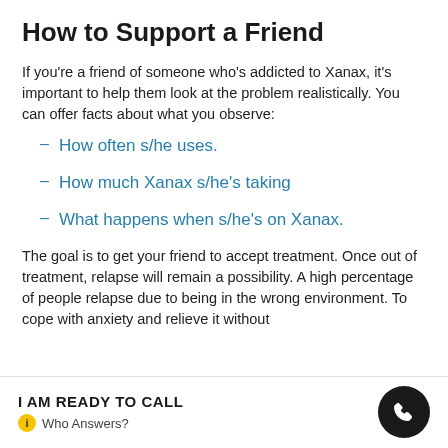How to Support a Friend
If you're a friend of someone who's addicted to Xanax, it's important to help them look at the problem realistically. You can offer facts about what you observe:
How often s/he uses.
How much Xanax s/he's taking
What happens when s/he's on Xanax.
The goal is to get your friend to accept treatment. Once out of treatment, relapse will remain a possibility. A high percentage of people relapse due to being in the wrong environment. To cope with anxiety and relieve it without
I AM READY TO CALL
Who Answers?